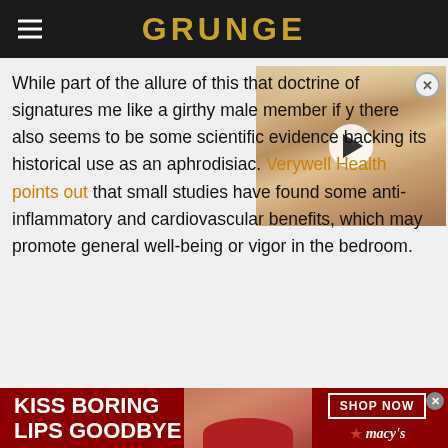GRUNGE
[Figure (photo): Video thumbnail of a blonde woman with dramatic makeup, with a white play button overlay in the center]
While part of the allure of this that doctrine of signatures me like a girthy male member if y there also seems to be some scientific evidence backing its historical use as an aphrodisiac. Verywell Health points out that small studies have found some anti-inflammatory and cardiovascular benefits, which may promote general well-being or vigor in the bedroom.
[Figure (photo): Advertisement banner: KISS BORING LIPS GOODBYE - image of woman with red lips - SHOP NOW - Macy's star logo]